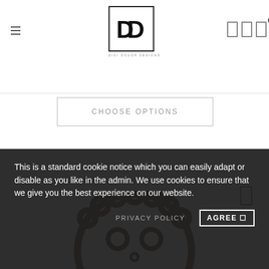Digi Dough Designs
[Figure (logo): Digi Dough Designs logo - two overlapping D letters inside a square border with company name below]
CHOOSE OPTIONS
[Figure (illustration): Cookie cutter in the shape of a cookie/face design, dark brown color]
This is a standard cookie notice which you can easily adapt or disable as you like in the admin. We use cookies to ensure that we give you the best experience on our website.
PRIVACY POLICY
AGREE []